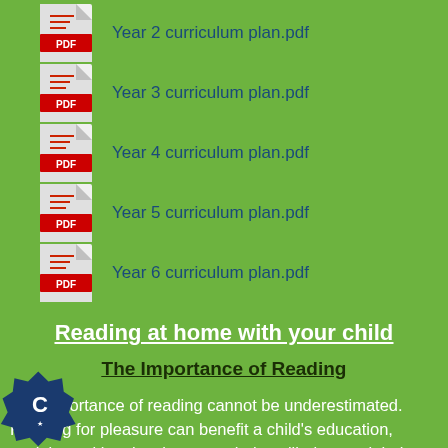Year 2 curriculum plan.pdf
Year 3 curriculum plan.pdf
Year 4 curriculum plan.pdf
Year 5 curriculum plan.pdf
Year 6 curriculum plan.pdf
Reading at home with your child
The Importance of Reading
The importance of reading cannot be underestimated. Reading for pleasure can benefit a child's education, social cognitive development, their wellbeing, and their mental